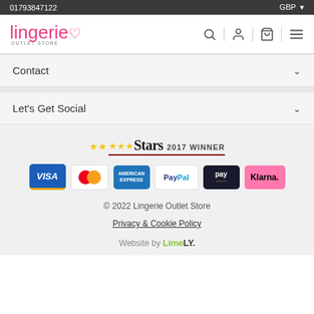01793847122   GBP
[Figure (logo): Lingerie Outlet Store logo in pink cursive script with heart symbol]
Contact
Let's Get Social
[Figure (logo): Stars 2017 Winner award badge with gold stars]
[Figure (infographic): Payment method icons: Visa, Mastercard, American Express, PayPal, Amazon Pay, Klarna]
© 2022 Lingerie Outlet Store
Privacy & Cookie Policy
Website by LimeLY.